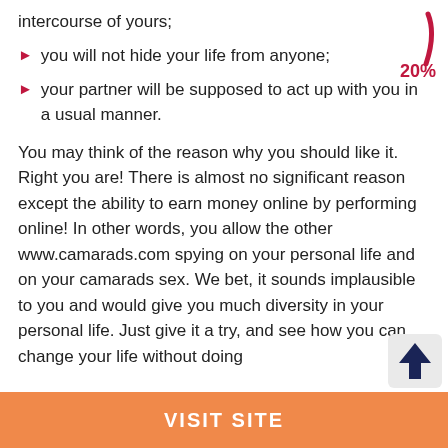intercourse of yours;
[Figure (infographic): Partial donut/arc gauge showing 20% in red/pink]
you will not hide your life from anyone;
your partner will be supposed to act up with you in a usual manner.
You may think of the reason why you should like it. Right you are! There is almost no significant reason except the ability to earn money online by performing online! In other words, you allow the other www.camarads.com spying on your personal life and on your camarads sex. We bet, it sounds implausible to you and would give you much diversity in your personal life. Just give it a try, and see how you can change your life without doing
[Figure (infographic): Dark navy up-arrow icon in a light grey box, bottom right]
VISIT SITE